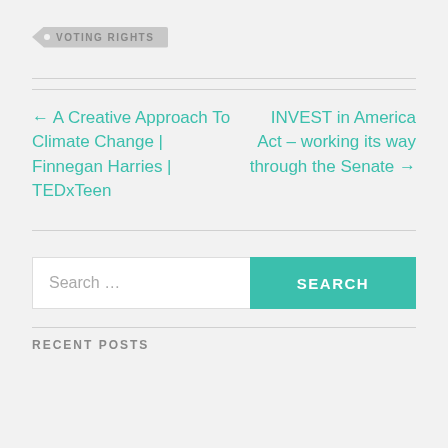VOTING RIGHTS
← A Creative Approach To Climate Change | Finnegan Harries | TEDxTeen
INVEST in America Act – working its way through the Senate →
Search ...
SEARCH
RECENT POSTS